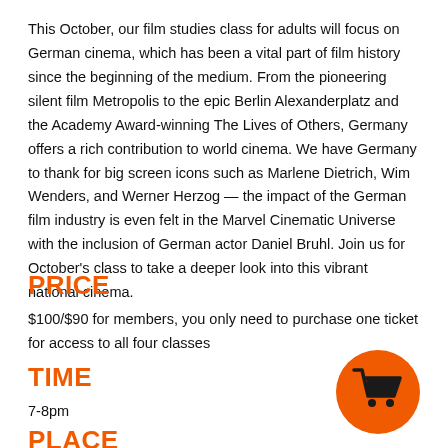This October, our film studies class for adults will focus on German cinema, which has been a vital part of film history since the beginning of the medium. From the pioneering silent film Metropolis to the epic Berlin Alexanderplatz and the Academy Award-winning The Lives of Others, Germany offers a rich contribution to world cinema. We have Germany to thank for big screen icons such as Marlene Dietrich, Wim Wenders, and Werner Herzog — the impact of the German film industry is even felt in the Marvel Cinematic Universe with the inclusion of German actor Daniel Bruhl. Join us for October's class to take a deeper look into this vibrant national cinema.
PRICE
$100/$90 for members, you only need to purchase one ticket for access to all four classes
TIME
7-8pm
PLACE
[Figure (illustration): Orange circle with a shopping cart icon inside]